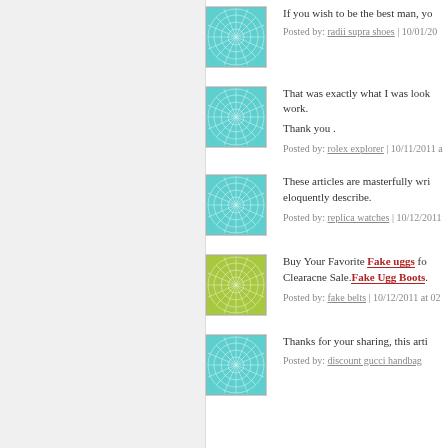If you wish to be the best man, yo...
Posted by: radii supra shoes | 10/01/20...
That was exactly what I was look... work.

Thank you .
Posted by: rolex explorer | 10/11/2011 a...
These articles are masterfully wri... eloquently describe.
Posted by: replica watches | 10/12/2011...
Buy Your Favorite Fake uggs fo... Clearacne Sale. Fake Ugg Boots.
Posted by: fake belts | 10/12/2011 at 02...
Thanks for your sharing, this arti...
Posted by: discount gucci handbag...